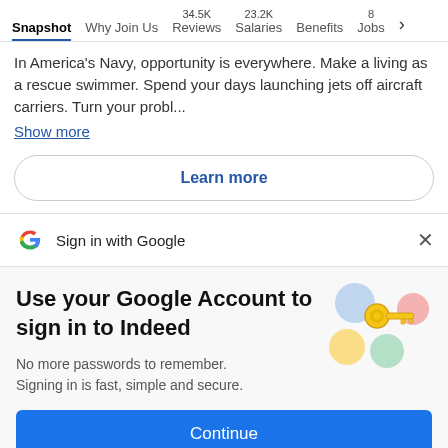Snapshot  Why Join Us  34.5K Reviews  23.2K Salaries  Benefits  8 Jobs >
In America's Navy, opportunity is everywhere. Make a living as a rescue swimmer. Spend your days launching jets off aircraft carriers. Turn your probl...
Show more
Learn more
Sign in with Google
Use your Google Account to sign in to Indeed
No more passwords to remember. Signing in is fast, simple and secure.
[Figure (illustration): Colorful illustration of a gold key with blue, yellow, green, and pink circular shapes in the background.]
Continue